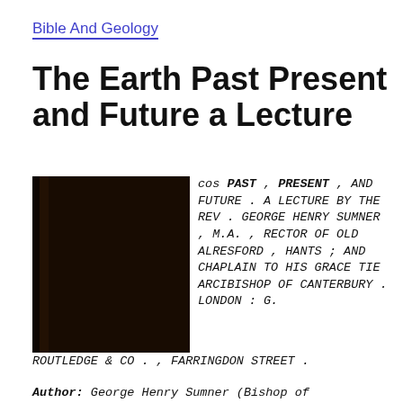Bible And Geology
The Earth Past Present and Future a Lecture
[Figure (photo): Dark brown hardcover book photograph, spine visible, very dark/black-brown cover]
cos PAST, PRESENT, AND FUTURE. A LECTURE BY THE REV. GEORGE HENRY SUMNER, M.A., RECTOR OF OLD ALRESFORD, HANTS; AND CHAPLAIN TO HIS GRACE TIE ARCIBISHOP OF CANTERBURY. LONDON: G. ROUTLEDGE & CO., FARRINGDON STREET.
Author: George Henry Sumner (Bishop of